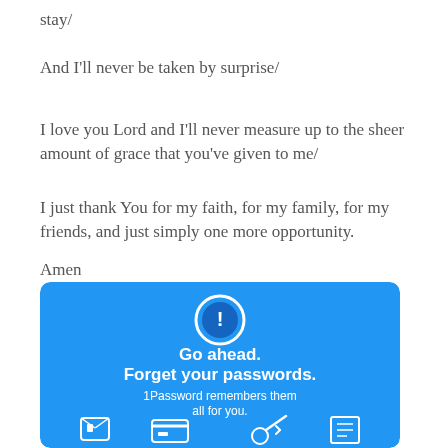stay/
And I'll never be taken by surprise/
I love you Lord and I'll never measure up to the sheer amount of grace that you've given to me/
I just thank You for my faith, for my family, for my friends, and just simply one more opportunity.
Amen
[Figure (infographic): 1Password advertisement banner with blue background. Shows 1Password logo (circle with key icon), headline 'Go ahead. Forget your passwords.' and subtext '1Password remembers them all for you.' with icons at the bottom.]